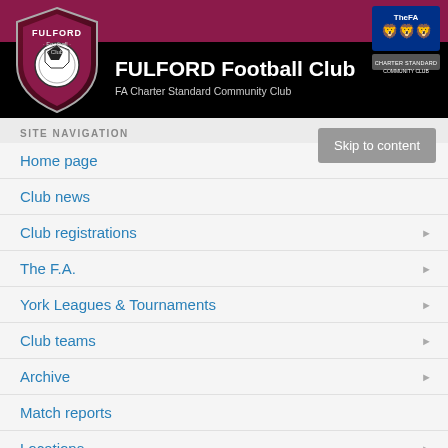[Figure (logo): Fulford Football Club logo with shield, football, and FA Charter Standard Community Club badge]
FULFORD Football Club
FA Charter Standard Community Club
SITE NAVIGATION
Skip to content
Home page
Club news
Club registrations
The F.A.
York Leagues & Tournaments
Club teams
Archive
Match reports
Locations
Club sponsors
Grants & Funding